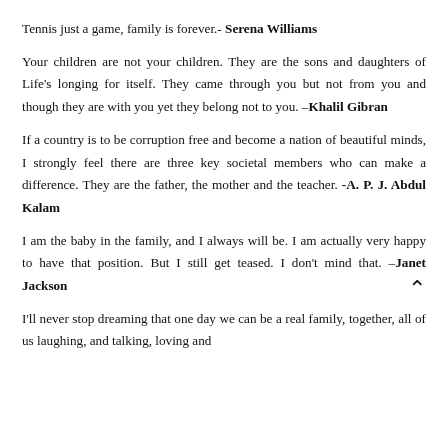Tennis just a game, family is forever.- Serena Williams
Your children are not your children. They are the sons and daughters of Life's longing for itself. They came through you but not from you and though they are with you yet they belong not to you. –Khalil Gibran
If a country is to be corruption free and become a nation of beautiful minds, I strongly feel there are three key societal members who can make a difference. They are the father, the mother and the teacher. -A. P. J. Abdul Kalam
I am the baby in the family, and I always will be. I am actually very happy to have that position. But I still get teased. I don't mind that. –Janet Jackson
I'll never stop dreaming that one day we can be a real family, together, all of us laughing, and talking, loving and